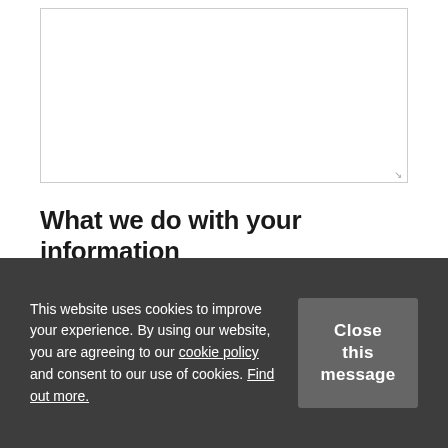[Figure (other): Empty textarea input box with resize handle in bottom-right corner]
What we do with your information
ABRSM and ABRSM Publishing will use the personal information that you provide in accordance with applicable
This website uses cookies to improve your experience. By using our website, you are agreeing to our cookie policy and consent to our use of cookies. Find out more.
Close this message